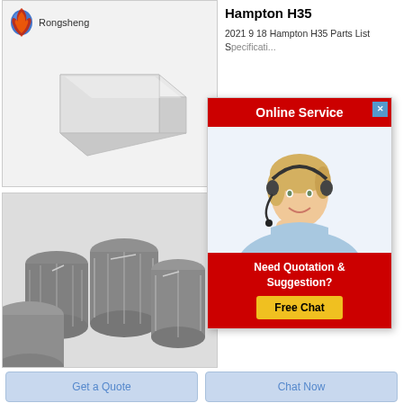[Figure (photo): Rongsheng logo with flame graphic and company name, above a white refractory brick block product image on light gray background]
[Figure (photo): Industrial rollers or graphite electrodes - gray cylindrical textured products stacked together]
Hampton H35
2021 9 18 Hampton H35 Parts List Sp...
[Figure (infographic): Online Service popup with red header, close button, photo of female customer service representative with headset, red footer with 'Need Quotation & Suggestion?' text and yellow 'Free Chat' button]